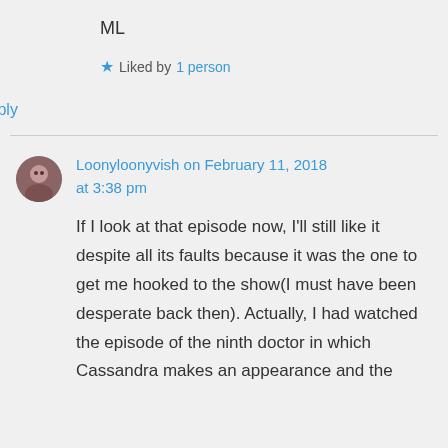ML
★ Liked by 1 person
↳ Reply
Loonyloonyvish on February 11, 2018 at 3:38 pm
If I look at that episode now, I'll still like it despite all its faults because it was the one to get me hooked to the show(I must have been desperate back then). Actually, I had watched the episode of the ninth doctor in which Cassandra makes an appearance and the